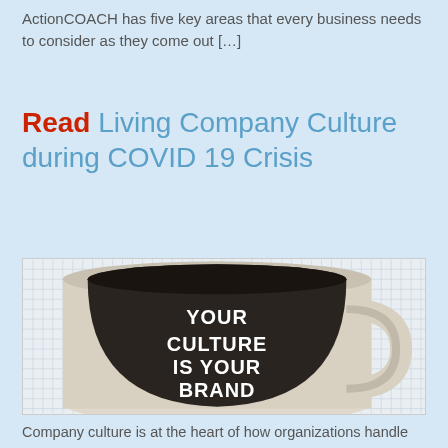ActionCOACH has five key areas that every business needs to consider as they come out […]
Read Living Company Culture during COVID 19 Crisis
[Figure (photo): A white coffee mug on graph paper background with text 'YOUR CULTURE IS YOUR BRAND' printed in white on the dark interior of the mug]
Company culture is at the heart of how organizations handle